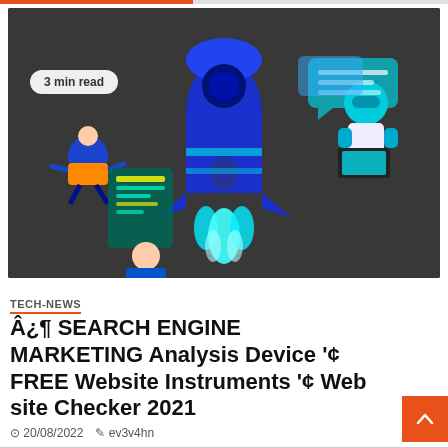[Figure (illustration): Digital marketing illustration on dark background showing a rocket launching, a person sitting in space with a laptop, and another person holding a document with a cyan glowing UI panel. '3 min read' badge overlaid top-left.]
TECH-NEWS
Â¿¶ SEARCH ENGINE MARKETING Analysis Device '¢ FREE Website Instruments '¢ Website Checker 2021
⊙ 20/08/2022   ✎ ev3v4hn